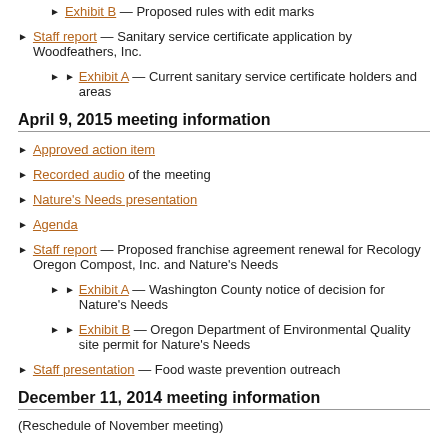Exhibit B — Proposed rules with edit marks
Staff report — Sanitary service certificate application by Woodfeathers, Inc.
Exhibit A — Current sanitary service certificate holders and areas
April 9, 2015 meeting information
Approved action item
Recorded audio of the meeting
Nature's Needs presentation
Agenda
Staff report — Proposed franchise agreement renewal for Recology Oregon Compost, Inc. and Nature's Needs
Exhibit A — Washington County notice of decision for Nature's Needs
Exhibit B — Oregon Department of Environmental Quality site permit for Nature's Needs
Staff presentation — Food waste prevention outreach
December 11, 2014 meeting information
(Reschedule of November meeting)